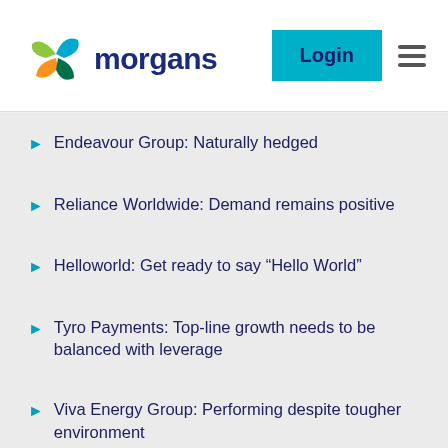Morgans
Endeavour Group: Naturally hedged
Reliance Worldwide: Demand remains positive
Helloworld: Get ready to say “Hello World”
Tyro Payments: Top-line growth needs to be balanced with leverage
Viva Energy Group: Performing despite tougher environment
Sonic Healthcare: 1H inline but time required to adjust to new normal